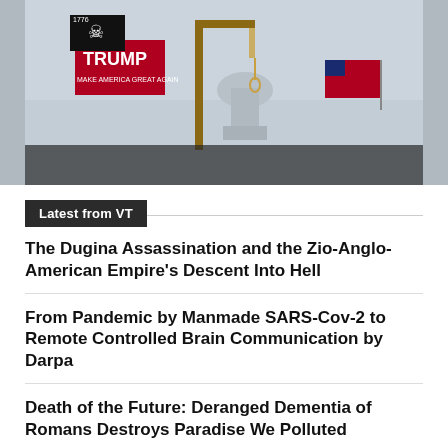[Figure (photo): Photo of a gallows with a noose erected outside the US Capitol building, with Trump flags and crowd visible in the background, taken during the January 6 Capitol riot.]
Latest from VT
The Dugina Assassination and the Zio-Anglo-American Empire's Descent Into Hell
From Pandemic by Manmade SARS-Cov-2 to Remote Controlled Brain Communication by Darpa
Death of the Future: Deranged Dementia of Romans Destroys Paradise We Polluted